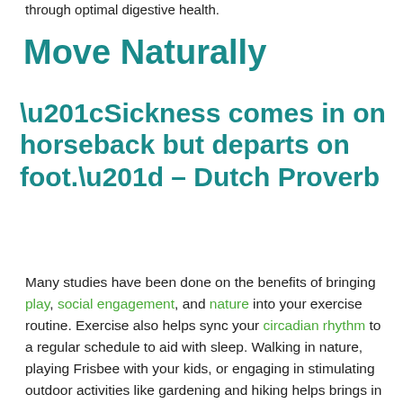through optimal digestive health.
Move Naturally
“Sickness comes in on horseback but departs on foot.” – Dutch Proverb
Many studies have been done on the benefits of bringing play, social engagement, and nature into your exercise routine. Exercise also helps sync your circadian rhythm to a regular schedule to aid with sleep. Walking in nature, playing Frisbee with your kids, or engaging in stimulating outdoor activities like gardening and hiking helps brings in vital elements from the trees and plants